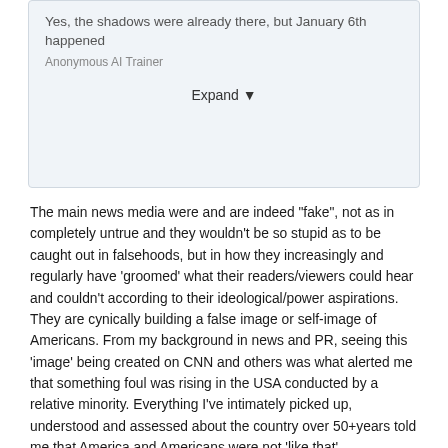[Figure (screenshot): Screenshot of a comment or post snippet reading 'Yes, the shadows were already there, but January 6th happened' with author text partially visible, and an Expand button with dropdown arrow below.]
The main news media were and are indeed "fake", not as in completely untrue and they wouldn't be so stupid as to be caught out in falsehoods, but in how they increasingly and regularly have 'groomed' what their readers/viewers could hear and couldn't according to their ideological/power aspirations. They are cynically building a false image or self-image of Americans. From my background in news and PR, seeing this 'image' being created on CNN and others was what alerted me that something foul was rising in the USA conducted by a relative minority. Everything I've intimately picked up, understood and assessed about the country over 50+years told me that America and Americans were not 'like that'.
When you have every race group of the world and mixes of races represented, as I believe you do, every normal altercation between individuals could be singled out as 'racist' and every confrontation with the law which goes bad, as 'systemic'. (And anyhow, to be properly free people have to be free to personally